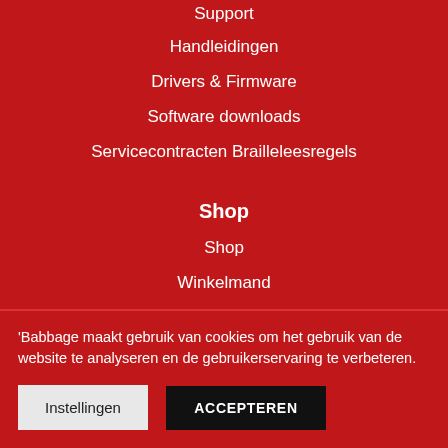Support
Handleidingen
Drivers & Firmware
Software downloads
Servicecontracten Brailleleesregels
Shop
Shop
Winkelmand
Bestellingen
Accountgegevens
Contact
'Babbage maakt gebruik van cookies om het gebruik van de website te analyseren en de gebruikerservaring te verbeteren.
Instellingen | ACCEPTEREN